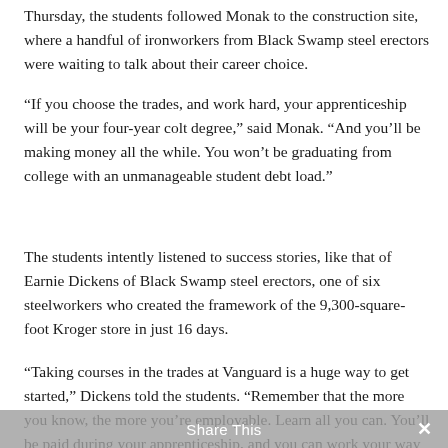Thursday, the students followed Monak to the construction site, where a handful of ironworkers from Black Swamp steel erectors were waiting to talk about their career choice.
“If you choose the trades, and work hard, your apprenticeship will be your four-year colt degree,” said Monak. “And you’ll be making money all the while. You won’t be graduating from college with an unmanageable student debt load.”
The students intently listened to success stories, like that of Earnie Dickens of Black Swamp steel erectors, one of six steelworkers who created the framework of the 9,300-square-foot Kroger store in just 16 days.
“Taking courses in the trades at Vanguard is a huge way to get started,” Dickens told the students. “Remember that the more you know, the more you’re employable. Learn all you can. You’ll be paid during your apprenticeship, and you can work your way up to $54 an hour, like I’m paid.”